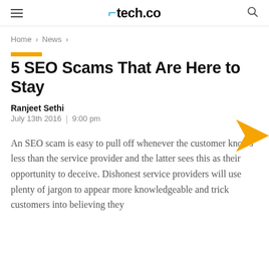tech.co
Home > News >
5 SEO Scams That Are Here to Stay
Ranjeet Sethi
July 13th 2016 | 9:00 pm
An SEO scam is easy to pull off whenever the customer knows less than the service provider and the latter sees this as their opportunity to deceive. Dishonest service providers will use plenty of jargon to appear more knowledgeable and trick customers into believing they